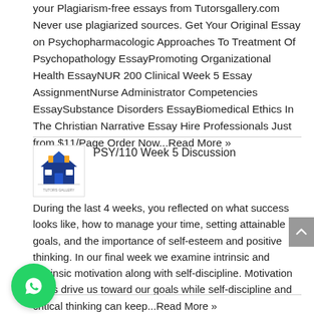your Plagiarism-free essays from Tutorsgallery.com Never use plagiarized sources. Get Your Original Essay on Psychopharmacologic Approaches To Treatment Of Psychopathology EssayPromoting Organizational Health EssayNUR 200 Clinical Week 5 Essay AssignmentNurse Administrator Competencies EssaySubstance Disorders EssayBiomedical Ethics In The Christian Narrative Essay Hire Professionals Just from $11/Page Order Now...Read More »
PSY/110 Week 5 Discussion
[Figure (logo): Tutors Gallery logo with blue house and orange highlights]
During the last 4 weeks, you reflected on what success looks like, how to manage your time, setting attainable goals, and the importance of self-esteem and positive thinking. In our final week we examine intrinsic and extrinsic motivation along with self-discipline. Motivation helps drive us toward our goals while self-discipline and critical thinking can keep...Read More »
[Figure (logo): WhatsApp floating button (green circle with phone icon)]